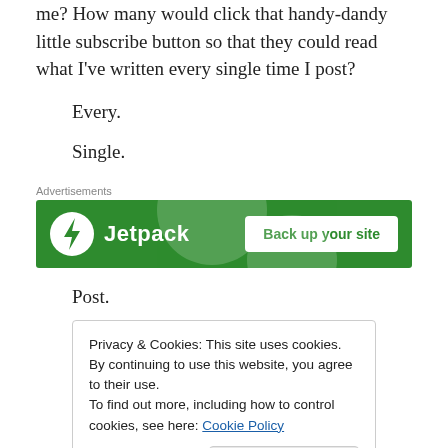me? How many would click that handy-dandy little subscribe button so that they could read what I've written every single time I post?
Every.
Single.
[Figure (other): Jetpack advertisement banner with green background, Jetpack logo and 'Back up your site' button]
Post.
Privacy & Cookies: This site uses cookies. By continuing to use this website, you agree to their use. To find out more, including how to control cookies, see here: Cookie Policy
mundane. But the majority of my posts are pretty boring